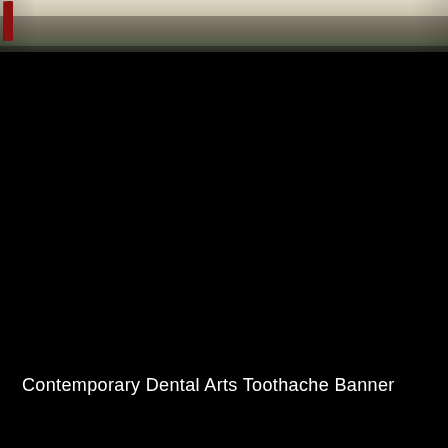[Figure (photo): Partial view of an outdoor scene showing dry grass ground and a sidewalk, with a red post or sign structure visible at the left edge. The image is cropped to a narrow horizontal strip at the top of the page.]
Contemporary Dental Arts Toothache Banner